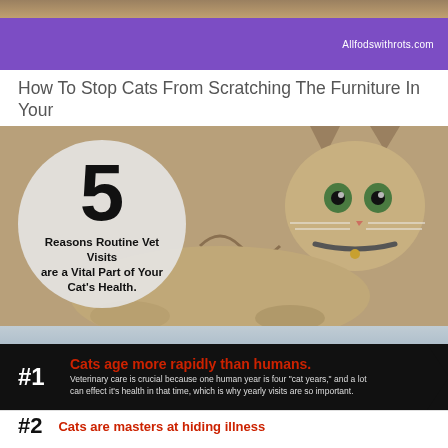[Figure (photo): Top portion of a cat photo partially visible at the very top of the page]
Allfodswithrots.com
How To Stop Cats From Scratching The Furniture In Your
[Figure (infographic): Photo of a tabby cat lying down looking at camera, with a large circle overlay on the left containing the number 5 and text: '5 Reasons Routine Vet Visits are a Vital Part of Your Cat's Health.']
[Figure (infographic): Black arrow banner with #1 label. Title in red: 'Cats age more rapidly than humans.' Description: 'Veterinary care is crucial because one human year is four "cat years," and a lot can effect it's health in that time, which is why yearly visits are so important.']
[Figure (infographic): Partial white banner with #2 label and red text: 'Cats are masters at hiding illness']